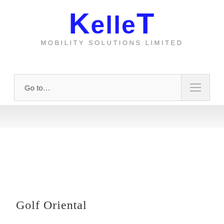[Figure (logo): Kellet Mobility Solutions Limited logo. Large bold blue text 'KelleT' with subtitle 'Mobility Solutions Limited' in grey spaced capitals.]
Go to…
Golf Oriental